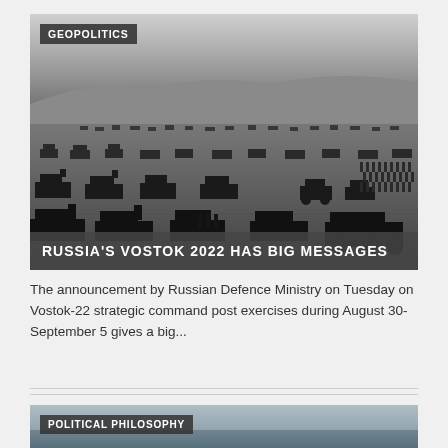[Figure (photo): Black and white aerial/ground-level photo of Russian military tanks, armored vehicles, and troops during a large-scale military exercise in an open steppe landscape.]
RUSSIA'S VOSTOK 2022 HAS BIG MESSAGES
The announcement by Russian Defence Ministry on Tuesday on Vostok-22 strategic command post exercises during August 30-September 5 gives a big...
[Figure (photo): Partial view of a second article image with POLITICAL PHILOSOPHY category label, showing a misty/foggy landscape.]